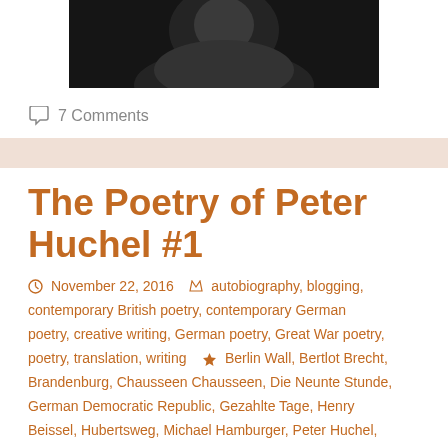[Figure (photo): Black and white portrait photograph of a person, partially visible at top of page]
7 Comments
The Poetry of Peter Huchel #1
November 22, 2016   autobiography, blogging, contemporary British poetry, contemporary German poetry, creative writing, German poetry, Great War poetry, poetry, translation, writing   Berlin Wall, Bertlot Brecht, Brandenburg, Chausseen Chausseen, Die Neunte Stunde, German Democratic Republic, Gezahlte Tage, Henry Beissel, Hubertsweg, Michael Hamburger, Peter Huchel, Siegfried Enemy Czechoslov...